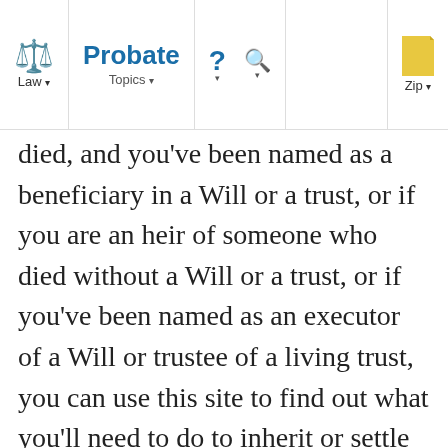Law ▾  |  Probate  Topics ▾  |  ?  🔍  |  Zip ▾
died, and you've been named as a beneficiary in a Will or a trust, or if you are an heir of someone who died without a Will or a trust, or if you've been named as an executor of a Will or trustee of a living trust, you can use this site to find out what you'll need to do to inherit or settle an estate or trust.
Here, you'll find clear and accurate information about how to inherit property, including